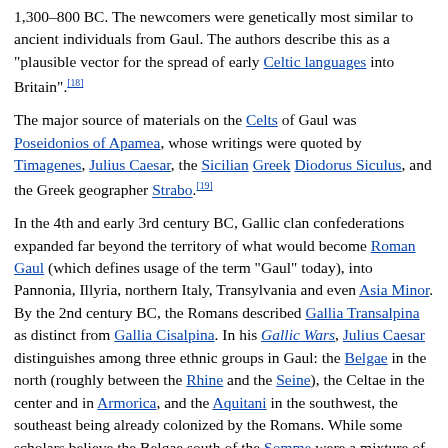1,300–800 BC. The newcomers were genetically most similar to ancient individuals from Gaul. The authors describe this as a "plausible vector for the spread of early Celtic languages into Britain".[18]
The major source of materials on the Celts of Gaul was Poseidonios of Apamea, whose writings were quoted by Timagenes, Julius Caesar, the Sicilian Greek Diodorus Siculus, and the Greek geographer Strabo.[19]
In the 4th and early 3rd century BC, Gallic clan confederations expanded far beyond the territory of what would become Roman Gaul (which defines usage of the term "Gaul" today), into Pannonia, Illyria, northern Italy, Transylvania and even Asia Minor. By the 2nd century BC, the Romans described Gallia Transalpina as distinct from Gallia Cisalpina. In his Gallic Wars, Julius Caesar distinguishes among three ethnic groups in Gaul: the Belgae in the north (roughly between the Rhine and the Seine), the Celtae in the center and in Armorica, and the Aquitani in the southwest, the southeast being already colonized by the Romans. While some scholars believe the Belgae south of the Somme were a mixture of Celtic and Germanic elements, their ethnic affiliations have not been definitively resolved. One of the reasons is political interference upon the French historical interpretation during the 19th century.